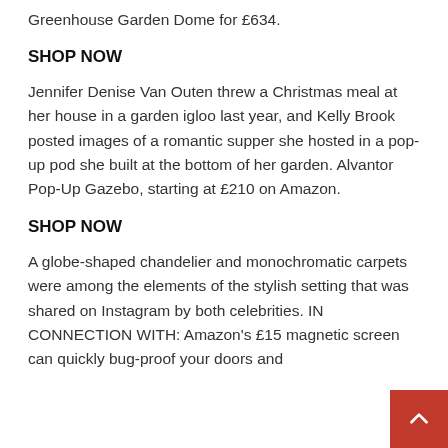Greenhouse Garden Dome for £634.
SHOP NOW
Jennifer Denise Van Outen threw a Christmas meal at her house in a garden igloo last year, and Kelly Brook posted images of a romantic supper she hosted in a pop-up pod she built at the bottom of her garden. Alvantor Pop-Up Gazebo, starting at £210 on Amazon.
SHOP NOW
A globe-shaped chandelier and monochromatic carpets were among the elements of the stylish setting that was shared on Instagram by both celebrities. IN CONNECTION WITH: Amazon's £15 magnetic screen can quickly bug-proof your doors and windows for the ASTREE...